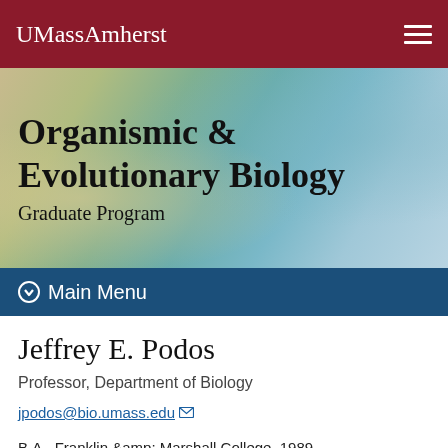UMassAmherst
Organismic & Evolutionary Biology
Graduate Program
Main Menu
Jeffrey E. Podos
Professor, Department of Biology
jpodos@bio.umass.edu
B.A., Franklin &amp; Marshall College, 1989
Ph.D., Duke Uiversity, 1996